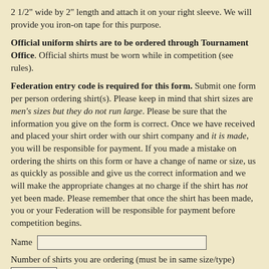2 1/2" wide by 2" length and attach it on your right sleeve. We will provide you iron-on tape for this purpose.
Official uniform shirts are to be ordered through Tournament Office. Official shirts must be worn while in competition (see rules).
Federation entry code is required for this form. Submit one form per person ordering shirt(s). Please keep in mind that shirt sizes are men's sizes but they do not run large. Please be sure that the information you give on the form is correct. Once we have received and placed your shirt order with our shirt company and it is made, you will be responsible for payment. If you made a mistake on ordering the shirts on this form or have a change of name or size, us as quickly as possible and give us the correct information and we will make the appropriate changes at no charge if the shirt has not yet been made. Please remember that once the shirt has been made, you or your Federation will be responsible for payment before competition begins.
Name [input field]
Number of shirts you are ordering (must be in same size/type) [input field]
If you are ordering different size shirts for same name, please fill